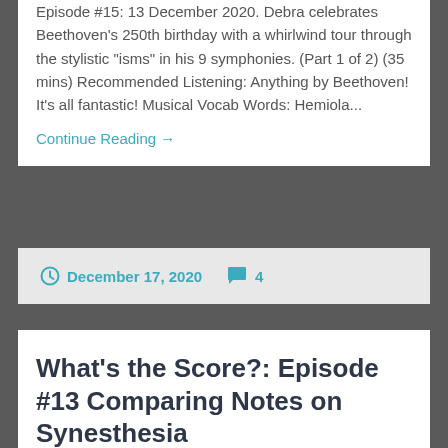Episode #15: 13 December 2020. Debra celebrates Beethoven's 250th birthday with a whirlwind tour through the stylistic "isms" in his 9 symphonies. (Part 1 of 2) (35 mins) Recommended Listening: Anything by Beethoven! It's all fantastic! Musical Vocab Words: Hemiola...
Continue Reading →
December 17, 2020  4
What's the Score?: Episode #13 Comparing Notes on Synesthesia